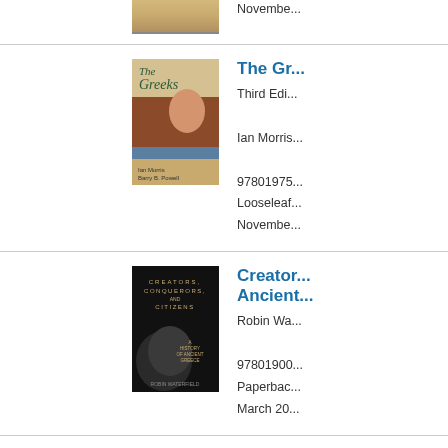[Figure (photo): Partial book cover visible at top of page - bottom portion of a book with beige/tan coloring]
November
[Figure (photo): Book cover: The Greeks, Third Edition, showing ancient fresco painting of a figure in red/brown tones]
The Gr...
Third Edi...
Ian Morris...
97801975...
Looselea...
Novembe...
[Figure (photo): Book cover: Creators, Conquerors, and Citizens - A History of Ancient Greece by Robin Waterfield, dark cover with bronze helmet silhouette]
Creator... Ancient...
Robin Wa...
97801900...
Paperback
March 20...
[Figure (photo): Partial book cover visible at bottom - A Brief... with cityscape]
A Brief ...